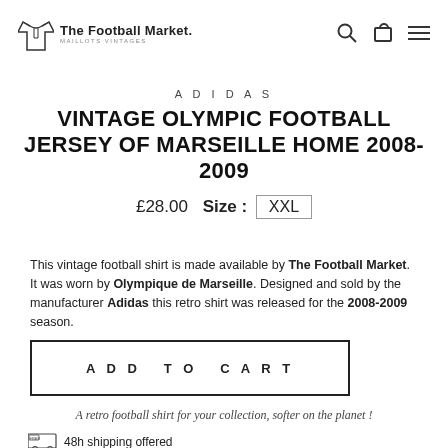The Football Market. MAILLOTS VINTAGES
ADIDAS
VINTAGE OLYMPIC FOOTBALL JERSEY OF MARSEILLE HOME 2008-2009
£28.00  Size : XXL
This vintage football shirt is made available by The Football Market. It was worn by Olympique de Marseille. Designed and sold by the manufacturer Adidas this retro shirt was released for the 2008-2009 season.
ADD TO CART
A retro football shirt for your collection, softer on the planet !
48h shipping offered